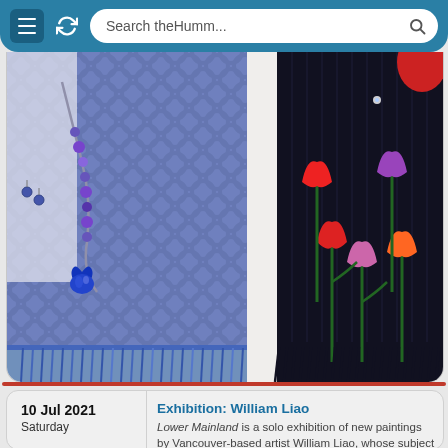[Figure (screenshot): Mobile browser navigation bar with menu icon, refresh icon, and search bar showing 'Search theHumm...']
[Figure (photo): Left photo: Blue and purple woven textile/scarf with circular pattern, blue fringe at bottom, with beaded jewelry necklace featuring a blue glass heart pendant and small earrings]
[Figure (photo): Right photo: Black scarf with colorful embroidered tulip flowers in red, pink, orange, and purple with green stems and fringe at bottom, with red hat visible at top]
10 Jul 2021
Saturday
Exhibition: William Liao
Lower Mainland is a solo exhibition of new paintings by Vancouver-based artist William Liao, whose subject locations are found throughout British Columbia's Lower Mainland, including Vancouver, the Tri-